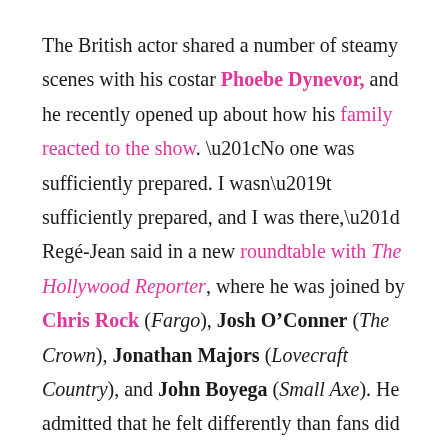The British actor shared a number of steamy scenes with his costar Phoebe Dynevor, and he recently opened up about how his family reacted to the show. “No one was sufficiently prepared. I wasn’t sufficiently prepared, and I was there,” Regé-Jean said in a new roundtable with The Hollywood Reporter, where he was joined by Chris Rock (Fargo), Josh O’Conner (The Crown), Jonathan Majors (Lovecraft Country), and John Boyega (Small Axe). He admitted that he felt differently than fans did about “the intensity of the romantic aspects” in the Shonda Rhimes-helmed series.